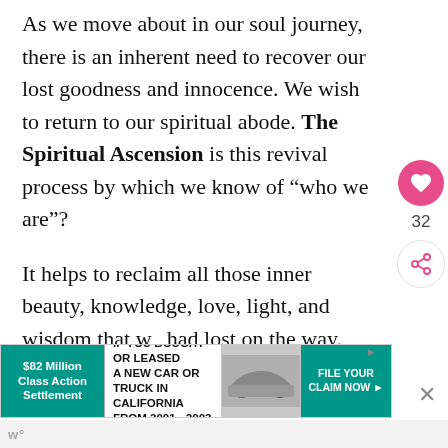As we move about in our soul journey, there is an inherent need to recover our lost goodness and innocence. We wish to return to our spiritual abode. The Spiritual Ascension is this revival process by which we know of “who we are”?
It helps to reclaim all those inner beauty, knowledge, love, light, and wisdom that we had lost on the way. When we gain knowledge of these aspects, we move on higher self, which is pure and divine.
[Figure (other): Advertisement banner: $82 Million Class Action Settlement - IF YOU BOUGHT OR LEASED A NEW CAR OR TRUCK IN CALIFORNIA FROM 2001 - 2003 - FILE YOUR CLAIM NOW]